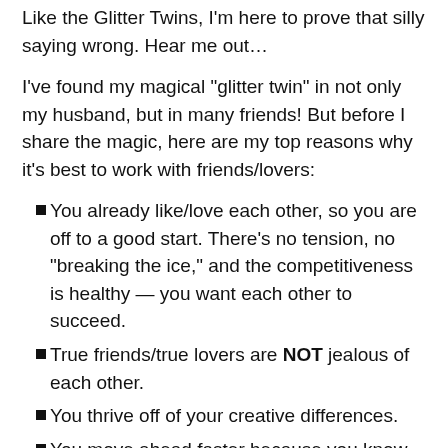Like the Glitter Twins, I'm here to prove that silly saying wrong. Hear me out…
I've found my magical “glitter twin” in not only my husband, but in many friends! But before I share the magic, here are my top reasons why it’s best to work with friends/lovers:
You already like/love each other, so you are off to a good start. There’s no tension, no “breaking the ice,” and the competitiveness is healthy — you want each other to succeed.
True friends/true lovers are NOT jealous of each other.
You thrive off of your creative differences.
You move ahead faster because you know each other well.
Celebrations of success are that much sweeter.
Working with someone you don’t know very well (or don’t